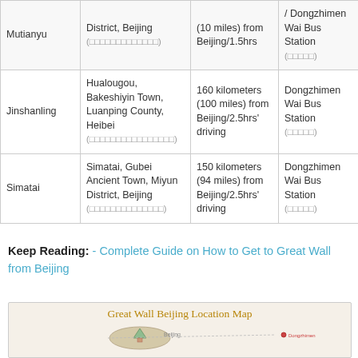| Name | Location | Distance | Transportation |
| --- | --- | --- | --- |
| Mutianyu | District, Beijing (□□□□□□□□□□□□□) | (10 miles) from Beijing/1.5hrs | / Dongzhimen Wai Bus Station (□□□□□) |
| Jinshanling | Hualougou, Bakeshiyin Town, Luanping County, Heibei (□□□□□□□□□□□□□□□□) | 160 kilometers (100 miles) from Beijing/2.5hrs' driving | Dongzhimen Wai Bus Station (□□□□□) |
| Simatai | Simatai, Gubei Ancient Town, Miyun District, Beijing (□□□□□□□□□□□□□□) | 150 kilometers (94 miles) from Beijing/2.5hrs' driving | Dongzhimen Wai Bus Station (□□□□□) |
Keep Reading:  - Complete Guide on How to Get to Great Wall from Beijing
[Figure (map): Great Wall Beijing Location Map showing a map of the Beijing region with Great Wall sections marked]